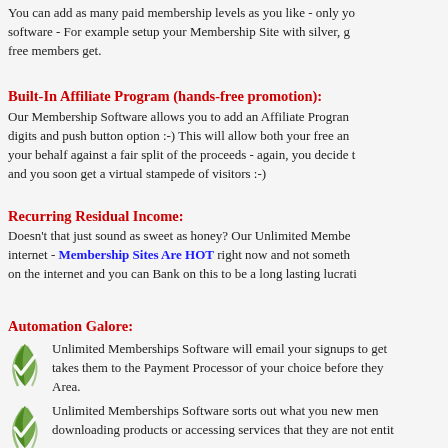You can add as many paid membership levels as you like - only you software - For example setup your Membership Site with silver, g free members get.
Built-In Affiliate Program (hands-free promotion):
Our Membership Software allows you to add an Affiliate Program digits and push button option :-) This will allow both your free and your behalf against a fair split of the proceeds - again, you decide t and you soon get a virtual stampede of visitors :-)
Recurring Residual Income:
Doesn't that just sound as sweet as honey? Our Unlimited Membe internet - Membership Sites Are HOT right now and not someth on the internet and you can Bank on this to be a long lasting lucrati
Automation Galore:
Unlimited Memberships Software will email your signups to get takes them to the Payment Processor of your choice before they Area.
Unlimited Memberships Software sorts out what you new mem downloading products or accessing services that they are not enti